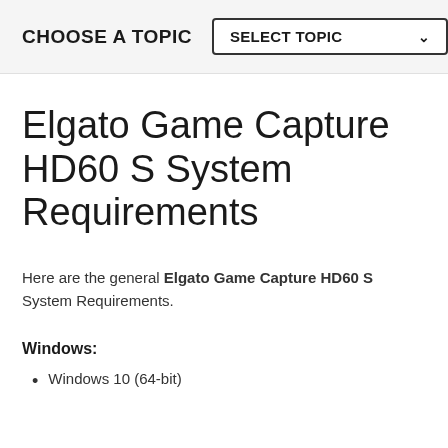CHOOSE A TOPIC   SELECT TOPIC
Elgato Game Capture HD60 S System Requirements
Here are the general Elgato Game Capture HD60 S System Requirements.
Windows:
Windows 10 (64-bit)